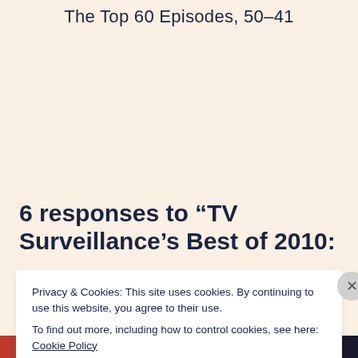The Top 60 Episodes, 50–41
6 responses to “TV Surveillance’s Best of 2010:
Privacy & Cookies: This site uses cookies. By continuing to use this website, you agree to their use.
To find out more, including how to control cookies, see here: Cookie Policy
Close and accept